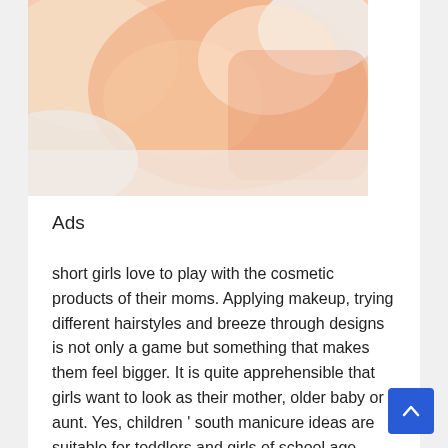[Figure (photo): Close-up photo of a baby or toddler with a face mask or cream applied, soft peach and white tones, lying on white bedding.]
Ads
short girls love to play with the cosmetic products of their moms. Applying makeup, trying different hairstyles and breeze through designs is not only a game but something that makes them feel bigger. It is quite apprehensible that girls want to look as their mother, older baby or aunt. Yes, children ' south manicure ideas are suitable for toddlers and girls of school age. many beauty salons offer children ' randomness manicure but many moms prefer to do the nails of their child at